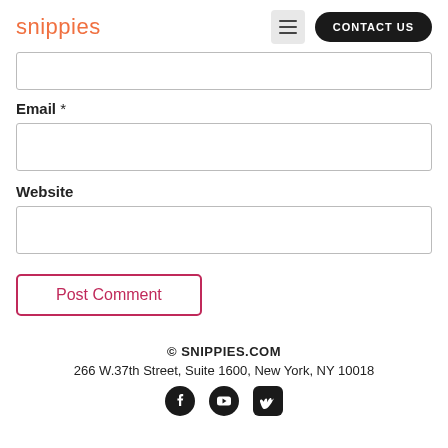snippies | CONTACT US
Email *
Website
Post Comment
© SNIPPIES.COM
266 W.37th Street, Suite 1600, New York, NY 10018